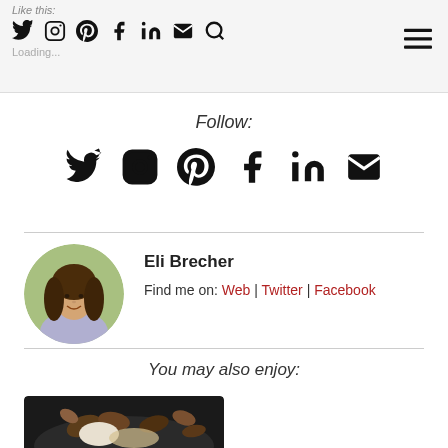Like this: [Twitter] [Instagram] [Pinterest] [Facebook] [LinkedIn] [Email] [Search] Loading...
Follow:
[Figure (infographic): Row of social media icons: Twitter, Instagram, Pinterest, Facebook, LinkedIn, Email]
Eli Brecher
Find me on: Web | Twitter | Facebook
[Figure (photo): Circular portrait photo of a young woman with long brown hair, smiling, wearing a light blue top, outdoors]
You may also enjoy:
[Figure (photo): Food photo showing a bowl with pecans, nuts, and other food items]